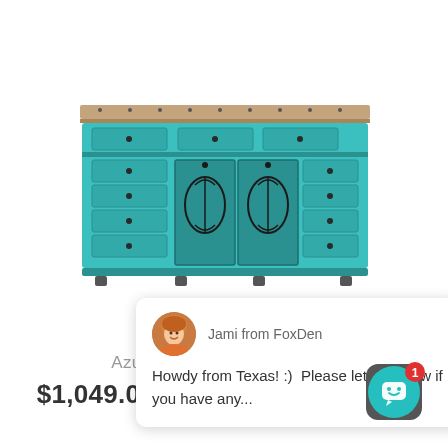[Figure (photo): A large turquoise/teal painted wooden vanity or sideboard with multiple drawers, ornate iron grate cabinet doors in the center, and a rustic wood top. The piece has decorative black iron hardware and sits on casters.]
[Figure (screenshot): A chat bubble overlay showing a circular avatar photo of a woman named Jami from FoxDen, with the message: Howdy from Texas! :) Please let me know if you have any...]
Azureus Vanity
$1,049.00 – $1,449.00
[Figure (illustration): Teal chat widget icon with a speech bubble and smiley face, with a red notification badge showing the number 1.]